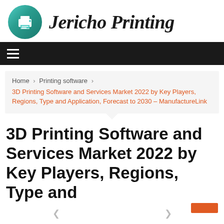[Figure (logo): Jericho Printing logo with printer icon in teal circle and italic serif text]
Jericho Printing
[Figure (other): Black navigation bar with hamburger menu icon]
Home > Printing software >
3D Printing Software and Services Market 2022 by Key Players, Regions, Type and Application, Forecast to 2030 – ManufactureLink
3D Printing Software and Services Market 2022 by Key Players, Regions, Type and